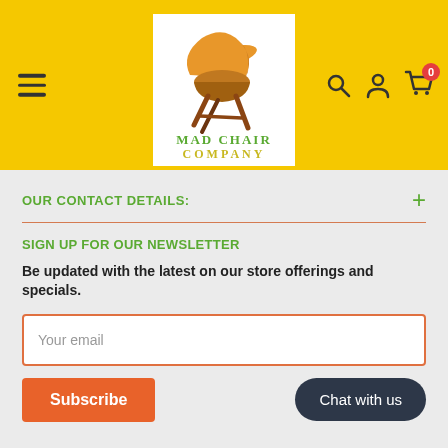[Figure (logo): Mad Chair Company logo: orange/brown mid-century modern chair above text 'MAD CHAIR COMPANY' in green and yellow-green, on a white background within yellow header]
OUR CONTACT DETAILS:
SIGN UP FOR OUR NEWSLETTER
Be updated with the latest on our store offerings and specials.
Your email
Subscribe
Chat with us